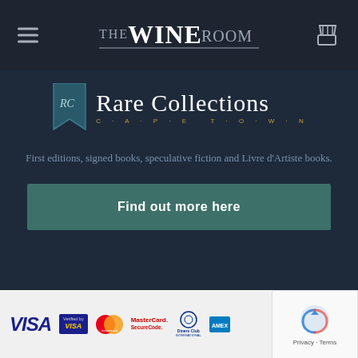[Figure (logo): The Wine Room website header with hamburger menu, THE WINE ROOM logo in grey/white serif font, and shopping cart icon on dark navy background]
[Figure (logo): Rare Collections Cape Town logo: RC bookmark icon in teal, large white serif text 'Rare Collections', gold spaced text 'CAPE TOWN' below]
First editions, signed books, speculative fiction and Livre d'Artiste books.
Find out more here
[Figure (logo): Payment logos: VISA, Verified by VISA, Mastercard, MasterCard SecureCode, Diners Club International, American Express, and a reCAPTCHA widget overlay]